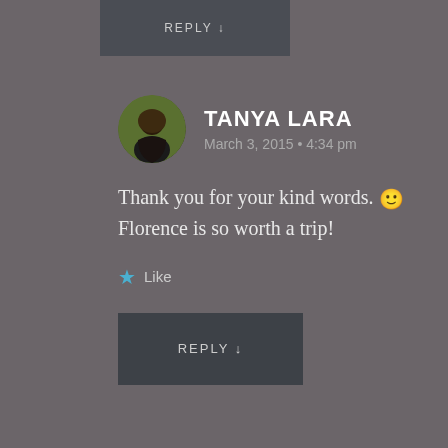REPLY ↓
TANYA LARA
March 3, 2015 • 4:34 pm
Thank you for your kind words. 🙂 Florence is so worth a trip!
★ Like
REPLY ↓